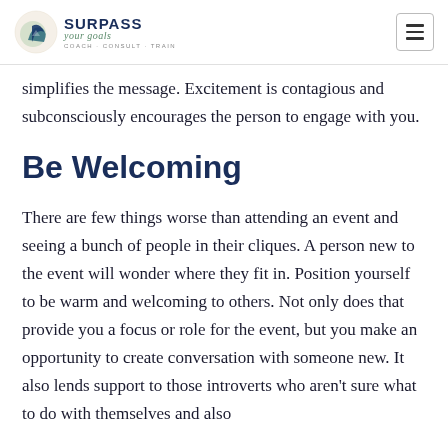Surpass Your Goals — Coach · Consult · Train
simplifies the message. Excitement is contagious and subconsciously encourages the person to engage with you.
Be Welcoming
There are few things worse than attending an event and seeing a bunch of people in their cliques. A person new to the event will wonder where they fit in. Position yourself to be warm and welcoming to others. Not only does that provide you a focus or role for the event, but you make an opportunity to create conversation with someone new. It also lends support to those introverts who aren't sure what to do with themselves and also